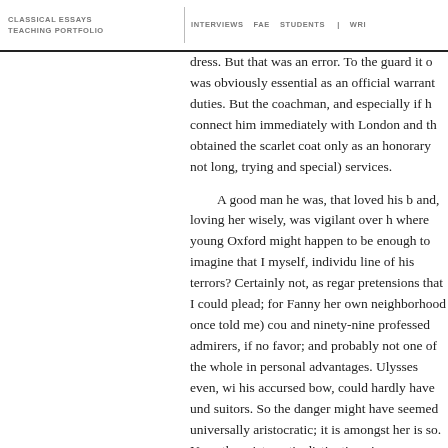CLASSICAL ESSAYS | INTERVIEWS FAE STUDENTS | TEACHING PORTFOLIO | WRITING
dress. But that was an error. To the guard it was obviously essential as an official warrant for duties. But the coachman, and especially if he connect him immediately with London and the obtained the scarlet coat only as an honorary not long, trying and special) services.
A good man he was, that loved his b and, loving her wisely, was vigilant over h where young Oxford might happen to be enough to imagine that I myself, individu line of his terrors? Certainly not, as regar pretensions that I could plead; for Fanny her own neighborhood once told me) cou and ninety-nine professed admirers, if not favor; and probably not one of the whole in personal advantages. Ulysses even, wit his accursed bow, could hardly have unde suitors. So the danger might have seemed universally aristocratic; it is amongst her is so. Now, the aristocratic distinctions in